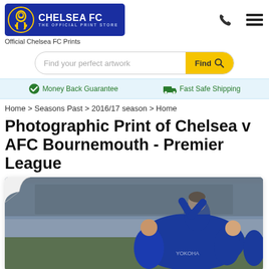[Figure (logo): Chelsea FC Official Print Store logo — blue banner with lion crest badge, text CHELSEA FC THE OFFICIAL PRINT STORE]
Official Chelsea FC Prints
Find your perfect artwork
Money Back Guarantee
Fast Safe Shipping
Home > Seasons Past > 2016/17 season > Home
Photographic Print of Chelsea v AFC Bournemouth - Premier League
[Figure (photo): Chelsea FC players celebrating a goal — players in blue Chelsea kits huddle and celebrate on the pitch, one player lifted in celebration]